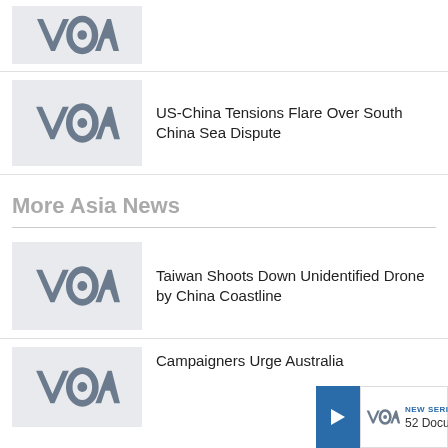[Figure (logo): VOA logo thumbnail, top item (partially visible)]
[Figure (logo): VOA logo thumbnail for US-China Tensions article]
US-China Tensions Flare Over South China Sea Dispute
More Asia News
[Figure (logo): VOA logo thumbnail for Taiwan drone article]
Taiwan Shoots Down Unidentified Drone by China Coastline
[Figure (logo): VOA logo thumbnail for Campaigners article]
Campaigners Urge Australia
[Figure (logo): VOA small logo in notification overlay]
NEW SERIES
52 Documentary